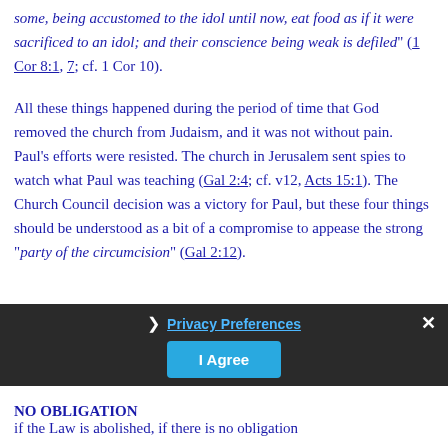some, being accustomed to the idol until now, eat food as if it were sacrificed to an idol; and their conscience being weak is defiled" (1 Cor 8:1, 7; cf. 1 Cor 10).
All these things happened during the period of time that God removed the church from Judaism, and it was not without pain.  Paul's efforts were resisted. The church in Jerusalem sent spies to watch what Paul was teaching (Gal 2:4; cf. v12, Acts 15:1). The Church Council decision was a victory for Paul, but these four things should be understood as a bit of a compromise to appease the strong “party of the circumcision” (Gal 2:12).
NO OBLIGATION
if the Law is abolished, if there is no obligation...